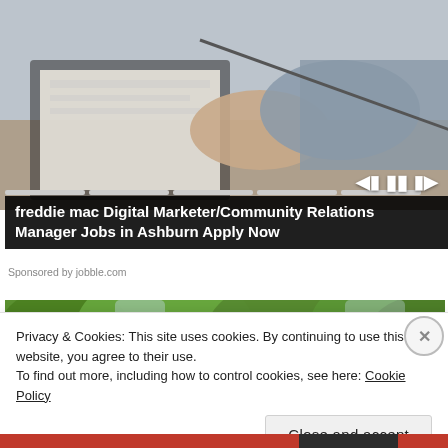[Figure (photo): Photo of two people with clasped hands across a desk with papers and clipboard, business/interview setting]
freddie mac Digital Marketer/Community Relations Manager Jobs in Ashburn Apply Now
Sponsored by jobble.com
[Figure (photo): Photo of leafy green trees from below looking up]
Privacy & Cookies: This site uses cookies. By continuing to use this website, you agree to their use.
To find out more, including how to control cookies, see here: Cookie Policy